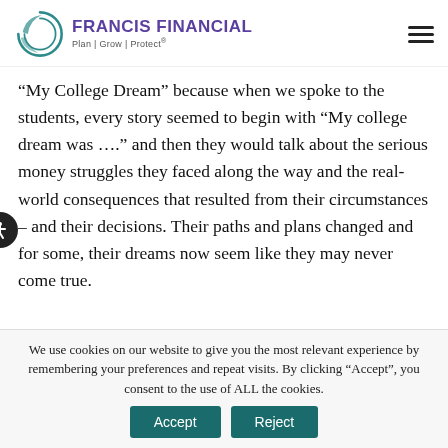FRANCIS FINANCIAL Plan | Grow | Protect®
“My College Dream” because when we spoke to the students, every story seemed to begin with “My college dream was ….” and then they would talk about the serious money struggles they faced along the way and the real-world consequences that resulted from their circumstances – and their decisions. Their paths and plans changed and for some, their dreams now seem like they may never come true.
We use cookies on our website to give you the most relevant experience by remembering your preferences and repeat visits. By clicking “Accept”, you consent to the use of ALL the cookies.